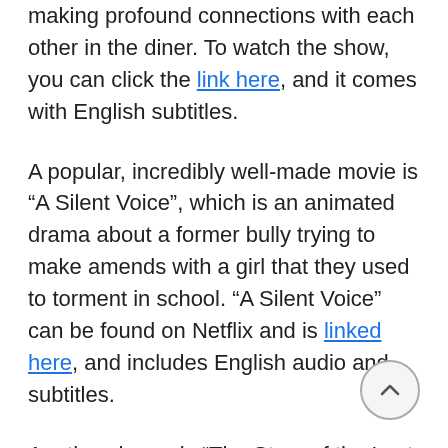making profound connections with each other in the diner. To watch the show, you can click the link here, and it comes with English subtitles.
A popular, incredibly well-made movie is “A Silent Voice”, which is an animated drama about a former bully trying to make amends with a girl that they used to torment in school. “A Silent Voice” can be found on Netflix and is linked here, and includes English audio and subtitles.
Another drama is “The Story of the Last Chrysanthemum” which was released in 1939. The film follows the path of an actor trying to follow in the footsteps of his father, who is a famous kabuki. He faces many trials and tribulations but finds support from his wet nurse